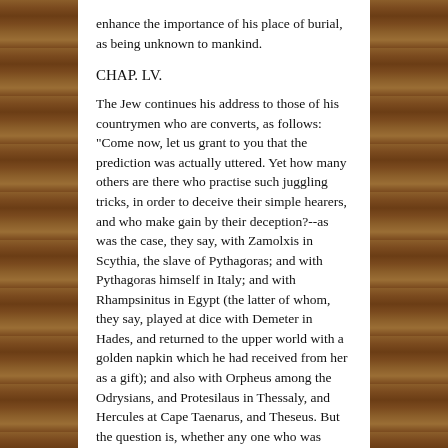enhance the importance of his place of burial, as being unknown to mankind.
CHAP. LV.
The Jew continues his address to those of his countrymen who are converts, as follows: "Come now, let us grant to you that the prediction was actually uttered. Yet how many others are there who practise such juggling tricks, in order to deceive their simple hearers, and who make gain by their deception?--as was the case, they say, with Zamolxis in Scythia, the slave of Pythagoras; and with Pythagoras himself in Italy; and with Rhampsinitus in Egypt (the latter of whom, they say, played at dice with Demeter in Hades, and returned to the upper world with a golden napkin which he had received from her as a gift); and also with Orpheus among the Odrysians, and Protesilaus in Thessaly, and Hercules at Cape Taenarus, and Theseus. But the question is, whether any one who was really dead ever rose with a veritable body. Or do you imagine the statements of others not only to be myths, but to have the appearance of such, while you have discovered a becoming and credible termination to your drama in the voice from the cross, when he breathed his last,